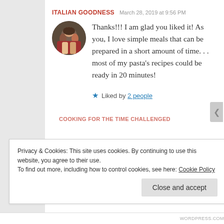ITALIAN GOODNESS   March 28, 2019 at 9:56 PM
[Figure (photo): Circular avatar photo of a group of people including children]
Thanks!!! I am glad you liked it! As you, I love simple meals that can be prepared in a short amount of time. . . most of my pasta's recipes could be ready in 20 minutes!
★ Liked by 2 people
COOKING FOR THE TIME CHALLENGED
Privacy & Cookies: This site uses cookies. By continuing to use this website, you agree to their use.
To find out more, including how to control cookies, see here: Cookie Policy
Close and accept